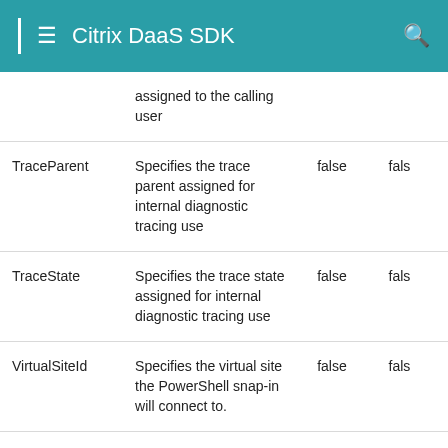Citrix DaaS SDK
| Name | Description | Required | Default |
| --- | --- | --- | --- |
|  | assigned to the calling user |  |  |
| TraceParent | Specifies the trace parent assigned for internal diagnostic tracing use | false | fals |
| TraceState | Specifies the trace state assigned for internal diagnostic tracing use | false | fals |
| VirtualSiteId | Specifies the virtual site the PowerShell snap-in will connect to. | false | fals |